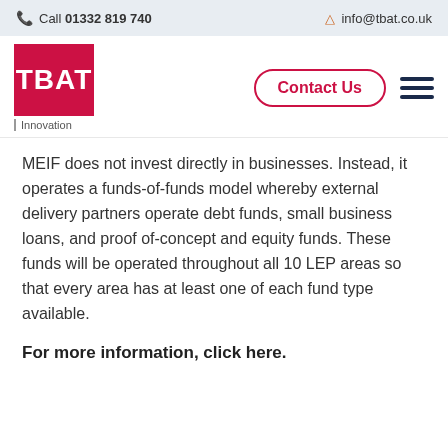Call 01332 819 740   info@tbat.co.uk
[Figure (logo): TBAT Innovation logo — red square with white TBAT text, subtitle 'Innovation']
MEIF does not invest directly in businesses. Instead, it operates a funds-of-funds model whereby external delivery partners operate debt funds, small business loans, and proof of-concept and equity funds. These funds will be operated throughout all 10 LEP areas so that every area has at least one of each fund type available.
For more information, click here.